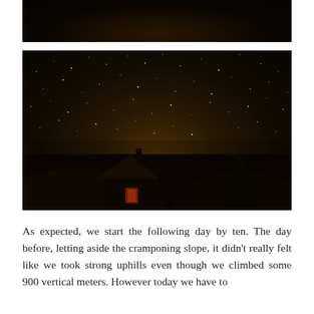[Figure (photo): Top portion of a dark nighttime outdoor photo, mostly black with dark trees barely visible]
[Figure (photo): Night sky photograph showing a starry sky above the silhouette of a mountain hut or cabin with a chimney and lit window, with a tree visible to the right and hills in the background]
As expected, we start the following day by ten. The day before, letting aside the cramponing slope, it didn’t really felt like we took strong uphills even though we climbed some 900 vertical meters. However today we have to